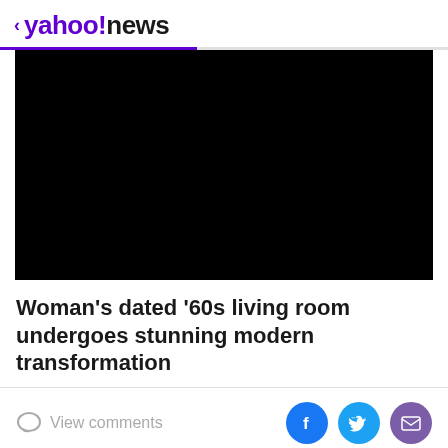< yahoo!news
[Figure (photo): Black video player area]
Woman's dated '60s living room undergoes stunning modern transformation
View comments